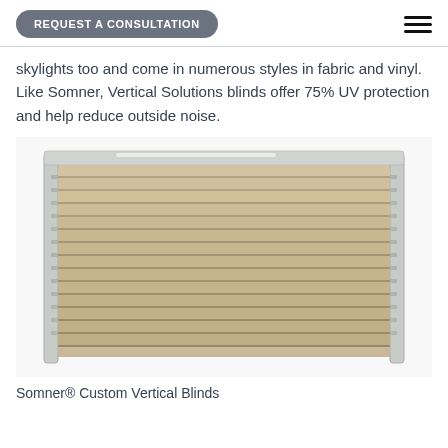REQUEST A CONSULTATION
skylights too and come in numerous styles in fabric and vinyl. Like Somner, Vertical Solutions blinds offer 75% UV protection and help reduce outside noise.
[Figure (photo): Product photo of Somner® Custom Vertical Blinds — tan/beige horizontal slat blinds with silver/white side rails, viewed from slightly above, showing multiple horizontal vanes closed across the width of the blind.]
Somner® Custom Vertical Blinds